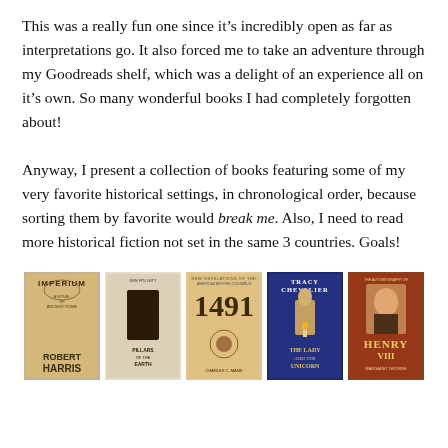This was a really fun one since it’s incredibly open as far as interpretations go. It also forced me to take an adventure through my Goodreads shelf, which was a delight of an experience all on it’s own. So many wonderful books I had completely forgotten about!
Anyway, I present a collection of books featuring some of my very favorite historical settings, in chronological order, because sorting them by favorite would break me. Also, I need to read more historical fiction not set in the same 3 countries. Goals!
[Figure (photo): Row of five historical fiction book covers: Imperium by Robert Harris, an unidentified gothic/medieval book, 1491 by Charles C. Mann, The Lady and the Unicorn by Tracy Chevalier, and The Life of Henry VIII by Margaret George.]